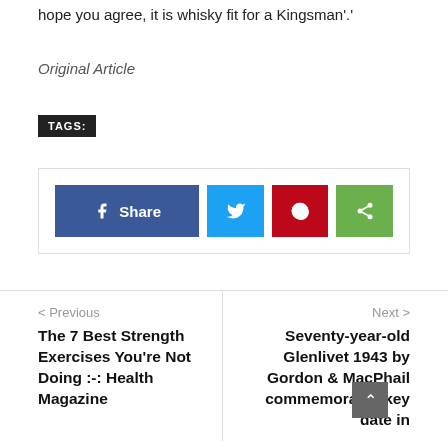hope you agree, it is whisky fit for a Kingsman'.
Original Article
TAGS:
[Figure (infographic): Social share buttons: Facebook Share, Twitter, Pinterest, and a generic share button]
< Previous
The 7 Best Strength Exercises You're Not Doing :-: Health Magazine
Next >
Seventy-year-old Glenlivet 1943 by Gordon & MacPhail commemorates key date in